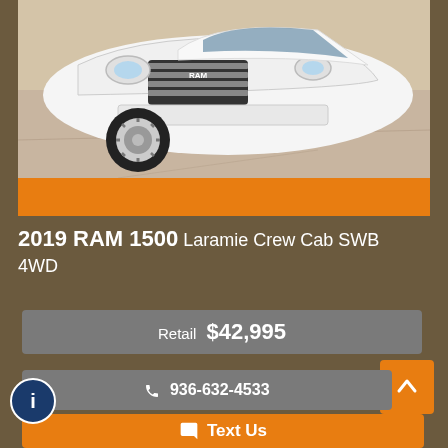[Figure (photo): White 2019 RAM 1500 pickup truck photographed from the front-left angle on a concrete surface]
2019 RAM 1500 Laramie Crew Cab SWB 4WD
Retail  $42,995
📞 936-632-4533
💬 Text Us